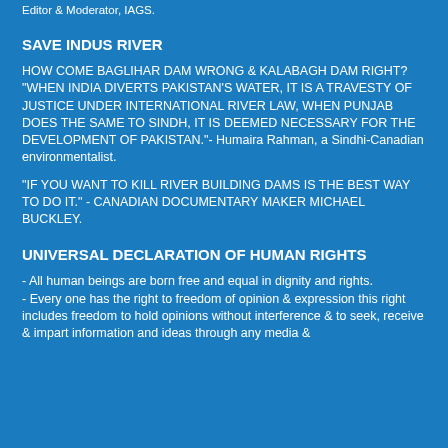Editor & Moderator, IAGS.
SAVE INDUS RIVER
HOW COME BAGLIHAR DAM WRONG & KALABAGH DAM RIGHT? "WHEN INDIA DIVERTS PAKISTAN'S WATER, IT IS A TRAVESTY OF JUSTICE UNDER INTERNATIONAL RIVER LAW, WHEN PUNJAB DOES THE SAME TO SINDH, IT IS DEEMED NECESSARY FOR THE DEVELOPMENT OF PAKISTAN."- Humaira Rahman, a Sindhi-Canadian environmentalist.
"IF YOU WANT TO KILL RIVER BUILDING DAMS IS THE BEST WAY TO DO IT." - CANADIAN DOCUMENTARY MAKER MICHAEL BUCKLEY.
UNIVERSAL DECLARATION OF HUMAN RIGHTS
- All human beings are born free and equal in dignity and rights.
- Every one has the right to freedom of opinion & expression this right includes freedom to hold opinions without interference & to seek, receive & impart information and ideas through any media &